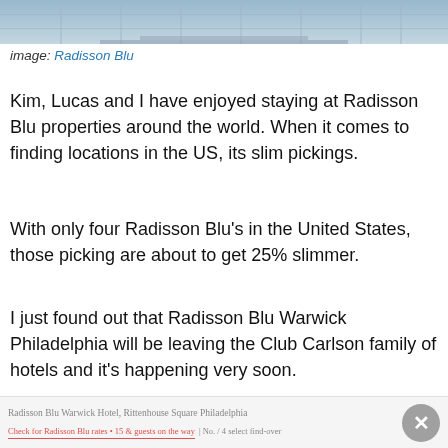[Figure (photo): Exterior architectural photo of Radisson Blu hotel building, cropped at top]
image: Radisson Blu
Kim, Lucas and I have enjoyed staying at Radisson Blu properties around the world. When it comes to finding locations in the US, its slim pickings.
With only four Radisson Blu's in the United States, those picking are about to get 25% slimmer.
I just found out that Radisson Blu Warwick Philadelphia will be leaving the Club Carlson family of hotels and it's happening very soon.
According to my friend @jetsetnom, the property will be leaving Club Carlson on April 1, 2016.
Radisson Blu Warwick Hotel, Rittenhouse Square Philadelphia